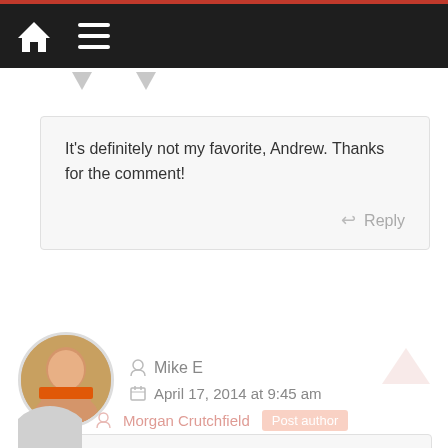[Figure (screenshot): Website navigation bar with home icon and hamburger menu on dark background with red top border]
It’s definitely not my favorite, Andrew. Thanks for the comment!
Reply
Mike E
April 17, 2014 at 9:45 am
Awesome article and pics. Wish I was there! Thank you.
Reply
Morgan Crutchfield
Post author